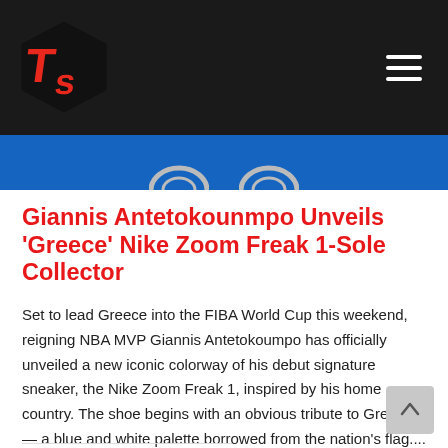Ts logo and navigation
[Figure (photo): Blue banner with partial shoe images showing circular heel elements]
Giannis Antetokounmpo Unveils ‘Greece’ Nike Zoom Freak 1-Sole Collector
Set to lead Greece into the FIBA World Cup this weekend, reigning NBA MVP Giannis Antetokoumpo has officially unveiled a new iconic colorway of his debut signature sneaker, the Nike Zoom Freak 1, inspired by his home country. The shoe begins with an obvious tribute to Greece — a blue and white palette borrowed from the nation’s flag....